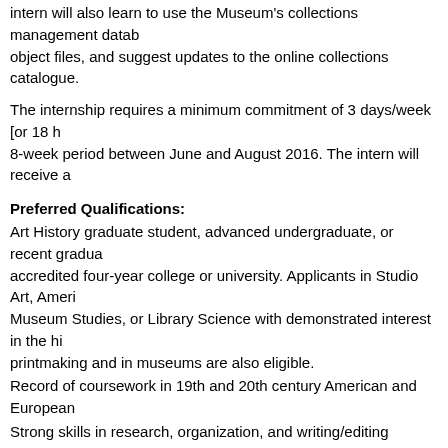intern will also learn to use the Museum's collections management database, object files, and suggest updates to the online collections catalogue.
The internship requires a minimum commitment of 3 days/week [or 18 hours] over an 8-week period between June and August 2016. The intern will receive a
Preferred Qualifications:
Art History graduate student, advanced undergraduate, or recent graduate from an accredited four-year college or university. Applicants in Studio Art, American Studies, Museum Studies, or Library Science with demonstrated interest in the history of printmaking and in museums are also eligible.
Record of coursework in 19th and 20th century American and European art.
Strong skills in research, organization, and writing/editing (including Microsoft Office proficiency).
Reading knowledge in French, German, or Italian preferred.
Past experience in cataloguing, inventory procedures, or database entry.
Application Requirements: Cover Letter (1-2 pages), including references to relevant coursework or past museum experience relevant to this opportunity. Explain the value of this internship to your studies and career plans.
Current Résumé / C.V. (including contact information).
Academic transcript.
Writing sample (5-10 pages).